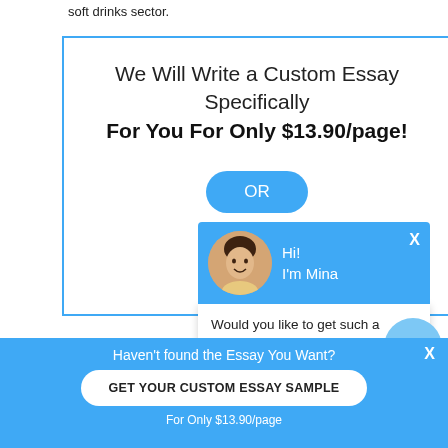soft drinks sector.
[Figure (screenshot): Promo box with blue border: 'We Will Write a Custom Essay Specifically For You For Only $13.90/page!' with an OR button]
3.2POPULATION
Survey are utile and power inquiries through informat analyses, but they can m population is non right targeted Sekaran ( 2003
[Figure (screenshot): Chat popup overlay with blue header showing avatar and 'Hi! I'm Mina', chat body text 'Would you like to get such a paper? How about receiving a customized one? Check it out']
[Figure (screenshot): Scroll up circular button (light blue with caret up)]
[Figure (screenshot): Message circular button (dark blue with chat icon)]
Haven't found the Essay You Want?
GET YOUR CUSTOM ESSAY SAMPLE
For Only $13.90/page